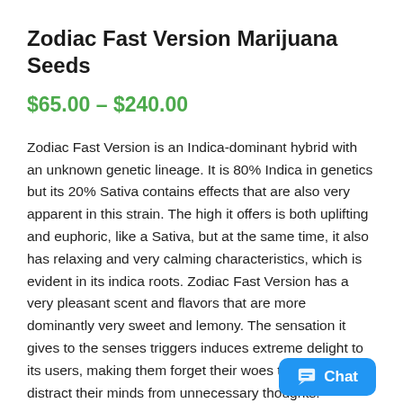Zodiac Fast Version Marijuana Seeds
$65.00 – $240.00
Zodiac Fast Version is an Indica-dominant hybrid with an unknown genetic lineage. It is 80% Indica in genetics but its 20% Sativa contains effects that are also very apparent in this strain. The high it offers is both uplifting and euphoric, like a Sativa, but at the same time, it also has relaxing and very calming characteristics, which is evident in its indica roots. Zodiac Fast Version has a very pleasant scent and flavors that are more dominantly very sweet and lemony. The sensation it gives to the senses triggers induces extreme delight to its users, making them forget their woes temporarily and distract their minds from unnecessary thoughts. Eventua[...] zz settles, you can then notice a full-bodie[...] in which